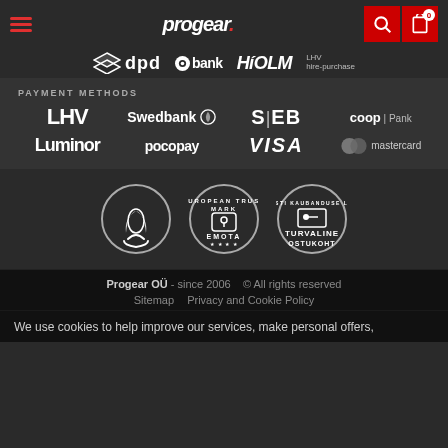[Figure (logo): Progear website navigation bar with hamburger menu, progear. brand logo, search icon, and cart icon with badge 0]
[Figure (logo): Delivery and payment partner logos: DPD, inbank, HOLM, LHV hire-purchase]
PAYMENT METHODS
[Figure (logo): Payment method logos: LHV, Swedbank, SEB, coop Pank, Luminor, Poco pay, VISA, mastercard]
[Figure (logo): Three trust badges: eco/sustainability badge, European Trust Mark EMOTA badge, Turvaline Ostukoht (safe shop) badge]
Progear OÜ - since 2006   © All rights reserved   Sitemap   Privacy and Cookie Policy
We use cookies to help improve our services, make personal offers,